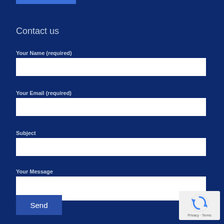Contact us
Your Name (required)
Your Email (required)
Subject
Your Message
Send
[Figure (logo): reCAPTCHA badge with rotating arrow icon and Privacy - Terms text]